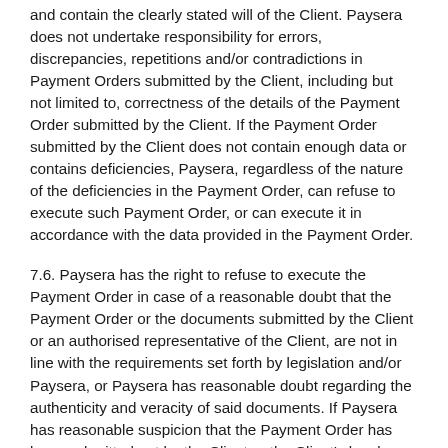and contain the clearly stated will of the Client. Paysera does not undertake responsibility for errors, discrepancies, repetitions and/or contradictions in Payment Orders submitted by the Client, including but not limited to, correctness of the details of the Payment Order submitted by the Client. If the Payment Order submitted by the Client does not contain enough data or contains deficiencies, Paysera, regardless of the nature of the deficiencies in the Payment Order, can refuse to execute such Payment Order, or can execute it in accordance with the data provided in the Payment Order.
7.6. Paysera has the right to refuse to execute the Payment Order in case of a reasonable doubt that the Payment Order or the documents submitted by the Client or an authorised representative of the Client, are not in line with the requirements set forth by legislation and/or Paysera, or Paysera has reasonable doubt regarding the authenticity and veracity of said documents. If Paysera has reasonable suspicion that the Payment Order has been submitted not by the Client or the Client's legal representative, or suspicion regarding the authenticity of the submitted documents, or other suspicion regarding the legitimacy or the content of the submitted Payment Order, Paysera has the right to require